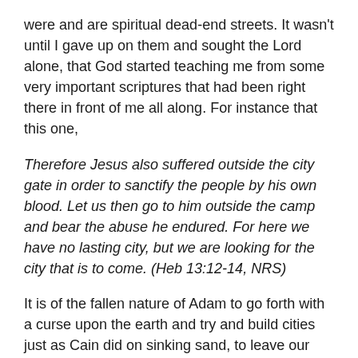were and are spiritual dead-end streets. It wasn't until I gave up on them and sought the Lord alone, that God started teaching me from some very important scriptures that had been right there in front of me all along. For instance that this one,
Therefore Jesus also suffered outside the city gate in order to sanctify the people by his own blood. Let us then go to him outside the camp and bear the abuse he endured. For here we have no lasting city, but we are looking for the city that is to come. (Heb 13:12-14, NRS)
It is of the fallen nature of Adam to go forth with a curse upon the earth and try and build cities just as Cain did on sinking sand, to leave our mark and to build a visible legacy that will last long after our miserable carnal lives are over. Yet, we have this promise which the builders